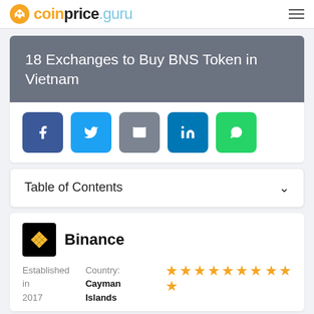coinprice.guru
18 Exchanges to Buy BNS Token in Vietnam
[Figure (infographic): Social share buttons: Facebook, Twitter, Email, LinkedIn, WhatsApp]
Table of Contents
Binance — Established in 2017, Country: Cayman Islands, Rating: 8 stars out of 10